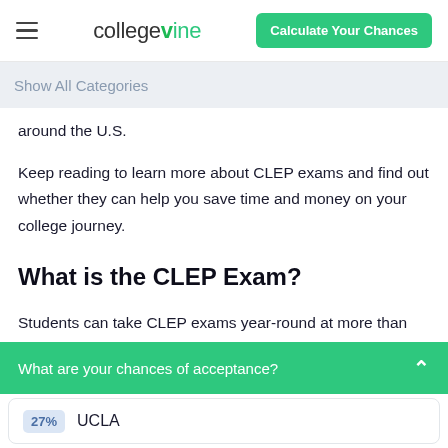collegevine | Calculate Your Chances
Show All Categories
around the U.S.
Keep reading to learn more about CLEP exams and find out whether they can help you save time and money on your college journey.
What is the CLEP Exam?
Students can take CLEP exams year-round at more than 2,000
What are your chances of acceptance?
27%  UCLA